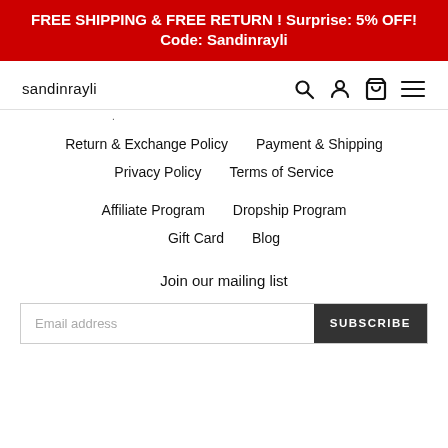FREE SHIPPING & FREE RETURN ! Surprise: 5% OFF! Code: Sandinrayli
[Figure (logo): sandinrayli logo text in small sans-serif font]
Return & Exchange Policy   Payment & Shipping   Privacy Policy   Terms of Service
Affiliate Program   Dropship Program   Gift Card   Blog
Join our mailing list
Email address   SUBSCRIBE